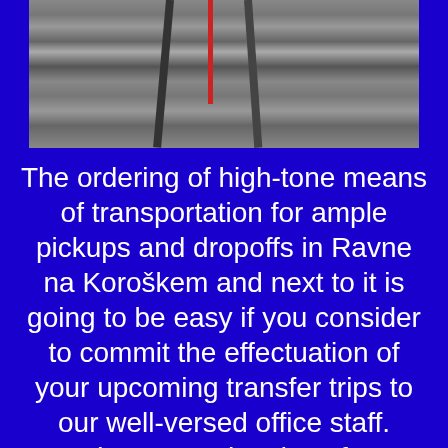[Figure (photo): Close-up photo of dark gray car seat upholstery with seat belts visible, shot from inside a vehicle]
The ordering of high-tone means of transportation for ample pickups and dropoffs in Ravne na Koroškem and next to it is going to be easy if you consider to commit the effectuation of your upcoming transfer trips to our well-versed office staff. Contingent on the size of your travellers party, we have either sedans, cars and limousines, or microbuses, minibuses and